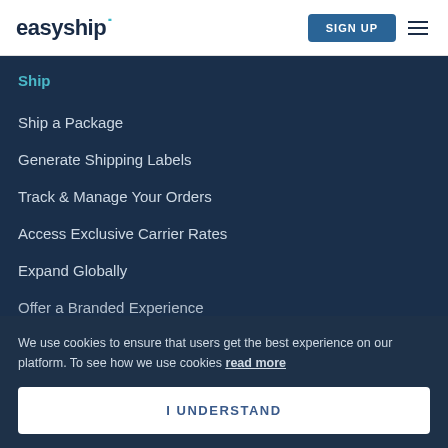easyship | SIGN UP
Ship
Ship a Package
Generate Shipping Labels
Track & Manage Your Orders
Access Exclusive Carrier Rates
Expand Globally
Offer a Branded Experience
We use cookies to ensure that users get the best experience on our platform. To see how we use cookies read more
I UNDERSTAND